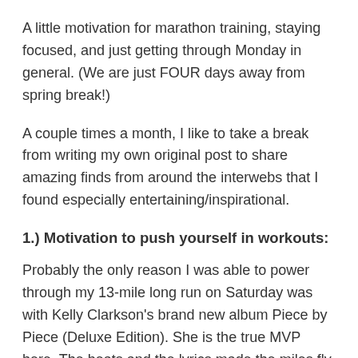A little motivation for marathon training, staying focused, and just getting through Monday in general. (We are just FOUR days away from spring break!)
A couple times a month, I like to take a break from writing my own original post to share amazing finds from around the interwebs that I found especially entertaining/inspirational.
1.) Motivation to push yourself in workouts:
Probably the only reason I was able to power through my 13-mile long run on Saturday was with Kelly Clarkson's brand new album Piece by Piece (Deluxe Edition). She is the true MVP here. The beats and the lyrics made the miles fly by (except when I ran so far out that my phone lost internet connection and I ran two miles in complete